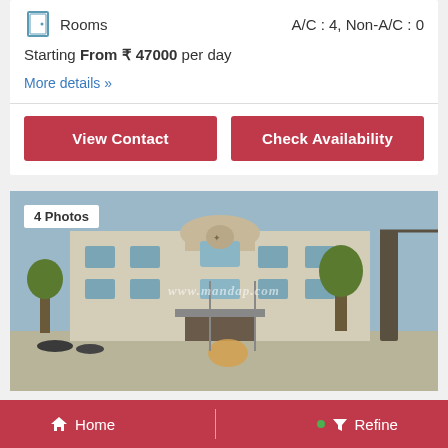Rooms   A/C : 4, Non-A/C : 0
Starting From ₹ 47000 per day
More details »
View Contact
Check Availability
[Figure (photo): Exterior photo of a multi-storey building/venue with a watermark reading www.mandap.com, overlaid with a '4 Photos' badge]
Home   |   Refine